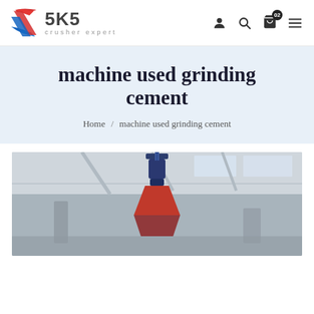[Figure (logo): SKS crusher expert logo with red and blue swoosh graphic, bold SKS text, tagline 'crusher expert']
SKS crusher expert — navigation icons: user, search, cart (02), menu
machine used grinding cement
Home / machine used grinding cement
[Figure (photo): Industrial factory interior photo showing overhead crane or machinery components — blue and red mechanical parts hanging from ceiling structure with concrete ceiling and skylights in background]